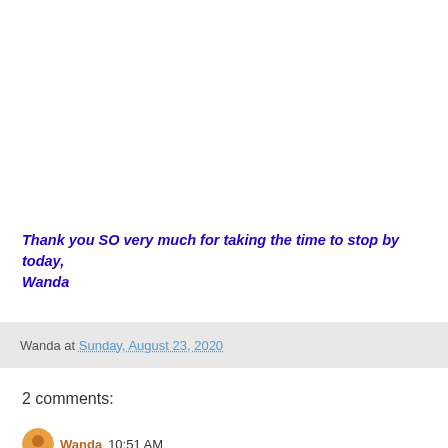Thank you SO very much for taking the time to stop by today,
Wanda
Wanda at Sunday, August 23, 2020
2 comments:
Wanda 10:51 AM